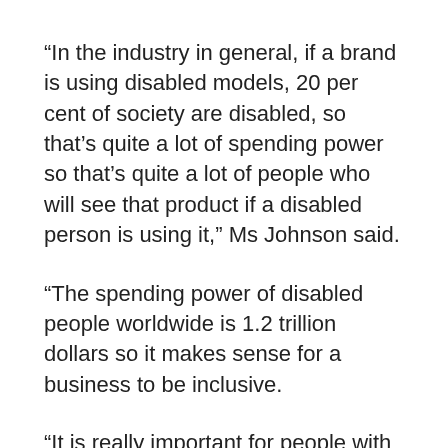“In the industry in general, if a brand is using disabled models, 20 per cent of society are disabled, so that’s quite a lot of spending power so that’s quite a lot of people who will see that product if a disabled person is using it,” Ms Johnson said.
“The spending power of disabled people worldwide is 1.2 trillion dollars so it makes sense for a business to be inclusive.
“It is really important for people with disabilities to feel represented and to feel self-worth.”
Zebedee was started in the UK by two sisters-in-law both with experience in modelling and disability support. The agency represents some famous talents including British